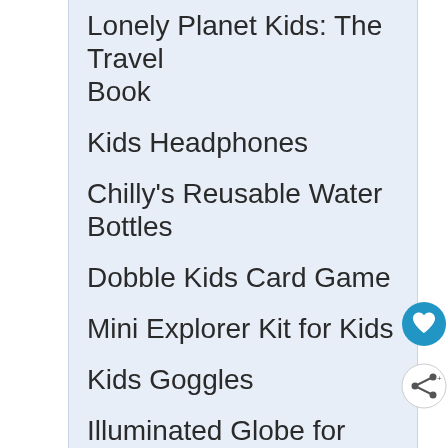Lonely Planet Kids: The Travel Book
Kids Headphones
Chilly's Reusable Water Bottles
Dobble Kids Card Game
Mini Explorer Kit for Kids
Kids Goggles
Illuminated Globe for Kids
Binoculars For Kids
Animal Luggage Tags
Cute Animal Toddler Backpack
The Ultimate Travel Journal For Kids: Awesome Activities for Your